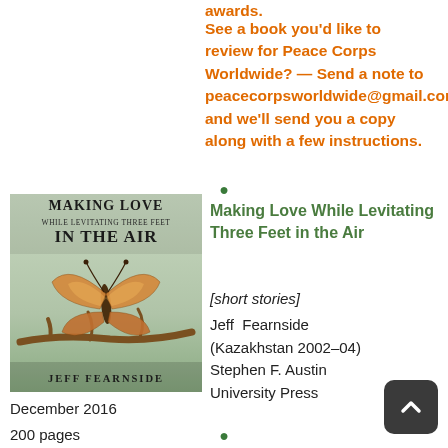awards.
See a book you'd like to review for Peace Corps Worldwide? — Send a note to peacecorpsworldwide@gmail.com, and we'll send you a copy along with a few instructions.
[Figure (illustration): Book cover for 'Making Love While Levitating Three Feet in the Air' by Jeff Fearnside, featuring a butterfly on a branch against a light background.]
Making Love While Levitating Three Feet in the Air
[short stories]
Jeff  Fearnside
(Kazakhstan 2002–04)
Stephen F. Austin University Press
December 2016
200 pages
$18.00 (paperback)